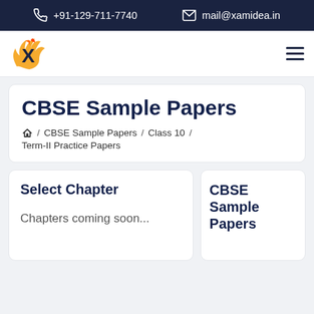+91-129-711-7740   mail@xamidea.in
[Figure (logo): Xamidea logo - orange/yellow flaming X letter mark]
CBSE Sample Papers
Home / CBSE Sample Papers / Class 10 / Term-II Practice Papers
Select Chapter
Chapters coming soon...
CBSE Sample Papers